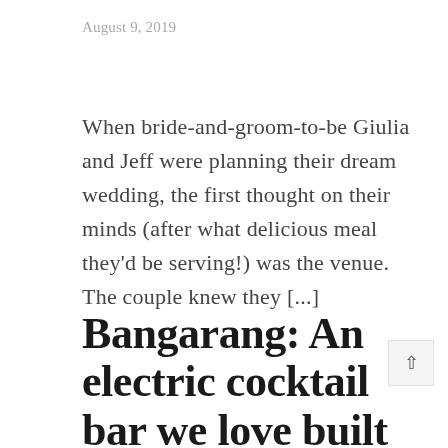August 9, 2019
When bride-and-groom-to-be Giulia and Jeff were planning their dream wedding, the first thought on their minds (after what delicious meal they'd be serving!) was the venue. The couple knew they [...]
Bangarang: An electric cocktail bar we love built on comfort, fun